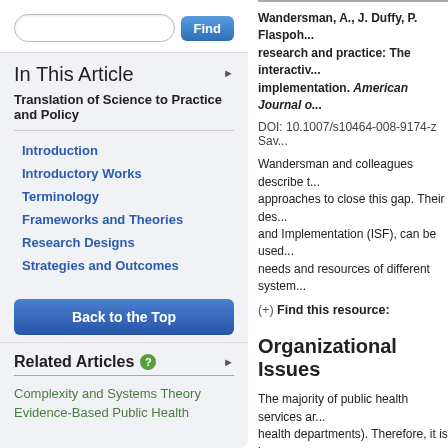In This Article
Translation of Science to Practice and Policy
Introduction
Introductory Works
Terminology
Frameworks and Theories
Research Designs
Strategies and Outcomes
Back to the Top
Related Articles
Complexity and Systems Theory
Evidence-Based Public Health
Wandersman, A., J. Duffy, P. Flaspoh... research and practice: The interactiv... implementation. American Journal o...
DOI: 10.1007/s10464-008-9174-z   Sav...
Wandersman and colleagues describe t... approaches to close this gap. Their des... and Implementation (ISF), can be used... needs and resources of different system...
(+)  Find this resource:
Organizational Issues
The majority of public health services ar... health departments). Therefore, it is imp... organizational climate and culture when... Schneider 1990 provide information on... al. 2008 cover organizational change fra... described in Ashkanasy, et al. 2000 and... differences by setting (private versus pu...